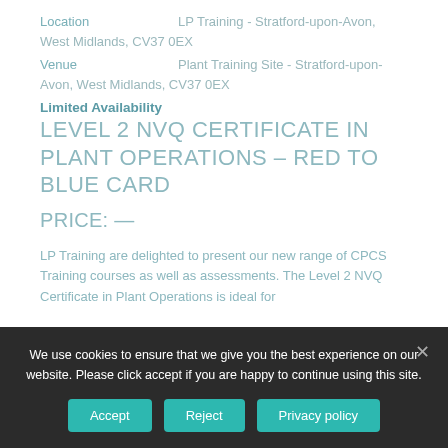Location    LP Training - Stratford-upon-Avon, West Midlands, CV37 0EX
Venue    Plant Training Site - Stratford-upon-Avon, West Midlands, CV37 0EX
Limited Availability
LEVEL 2 NVQ CERTIFICATE IN PLANT OPERATIONS – RED TO BLUE CARD
PRICE: —
LP Training are delighted to present our new range of CPCS Training courses as well as assessments. The Level 2 NVQ Certificate in Plant Operations is ideal for
We use cookies to ensure that we give you the best experience on our website. Please click accept if you are happy to continue using this site.